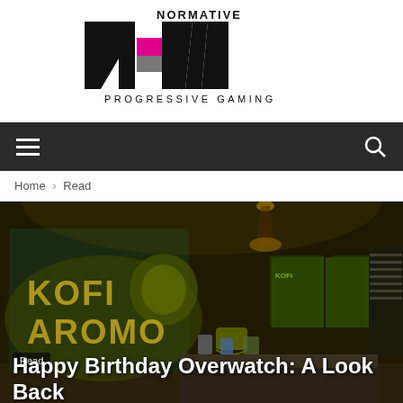[Figure (logo): Normative New Progressive Gaming logo — large black N and W letters with magenta and gray color blocks, text 'NORMATIVE' and 'PROGRESSIVE GAMING' below]
Navigation bar with hamburger menu and search icon
Home › Read
[Figure (photo): In-game screenshot from Overwatch showing a dark coffee shop interior with 'KOFI AROMO' neon green signage on the wall and glowing green advertisement panels in the background]
Read
Happy Birthday Overwatch: A Look Back
By Jay Castello - May 22, 2017 💬 1